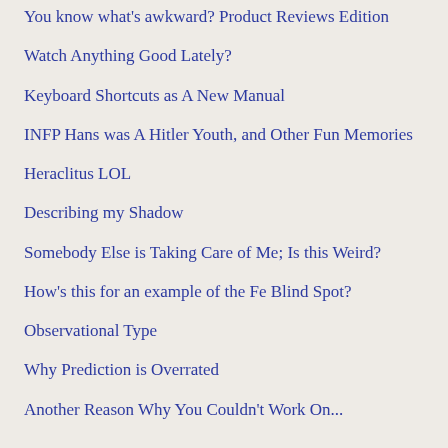You know what's awkward? Product Reviews Edition
Watch Anything Good Lately?
Keyboard Shortcuts as A New Manual
INFP Hans was A Hitler Youth, and Other Fun Memories
Heraclitus LOL
Describing my Shadow
Somebody Else is Taking Care of Me; Is this Weird?
How's this for an example of the Fe Blind Spot?
Observational Type
Why Prediction is Overrated
Another Reason Why You Couldn't Work On...